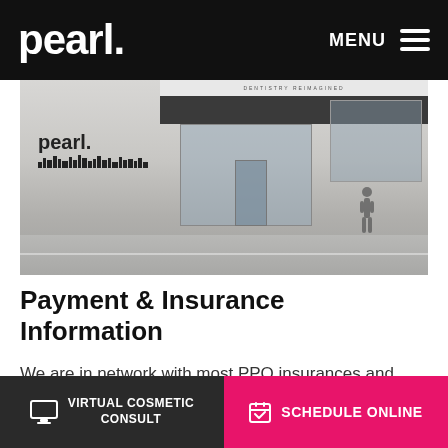pearl. MENU
[Figure (photo): Exterior storefront photo of Pearl dental office with 'pearl.' logo on wall, dark awnings over glass windows and door, road in foreground, pedestrian visible on right side]
Payment & Insurance Information
We are in network with most PPO insurances and provide financing through CareCredit to make our services as affordable as possible for our
VIRTUAL COSMETIC CONSULT   SCHEDULE ONLINE